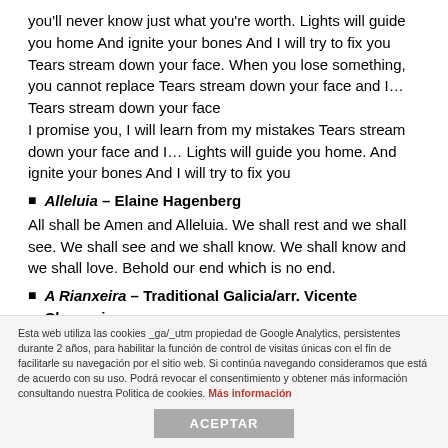you'll never know just what you're worth. Lights will guide you home And ignite your bones And I will try to fix you Tears stream down your face. When you lose something, you cannot replace Tears stream down your face and I... Tears stream down your face I promise you, I will learn from my mistakes Tears stream down your face and I... Lights will guide you home. And ignite your bones And I will try to fix you
Alleluia – Elaine Hagenberg
All shall be Amen and Alleluia. We shall rest and we shall see. We shall see and we shall know. We shall know and we shall love. Behold our end which is no end.
A Rianxeira – Traditional Galicia/arr. Vicente Chavarria
Translation: The Virgin of Rianxo. The Virgin of
Esta web utiliza las cookies _ga/_utm propiedad de Google Analytics, persistentes durante 2 años, para habilitar la función de control de visitas únicas con el fin de facilitarle su navegación por el sitio web. Si continúa navegando consideramos que está de acuerdo con su uso. Podrá revocar el consentimiento y obtener más información consultando nuestra Politica de cookies. Más información